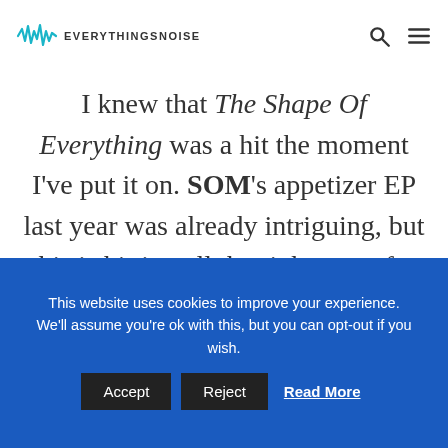EVERYTHINGSNOISE
I knew that The Shape Of Everything was a hit the moment I've put it on. SOM's appetizer EP last year was already intriguing, but this is hitting all the right spots for me. You can definitely say that they are beating the bush with that one vibe they have going on, but the songs are so well-executed that I don't give a
This website uses cookies to improve your experience. We'll assume you're ok with this, but you can opt-out if you wish. Accept Reject Read More